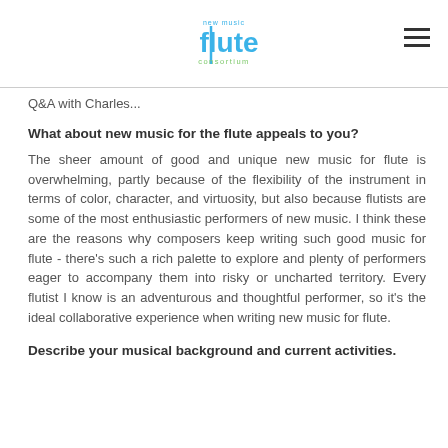new music flute consortium
Q&A with Charles...
What about new music for the flute appeals to you?
The sheer amount of good and unique new music for flute is overwhelming, partly because of the flexibility of the instrument in terms of color, character, and virtuosity, but also because flutists are some of the most enthusiastic performers of new music. I think these are the reasons why composers keep writing such good music for flute - there's such a rich palette to explore and plenty of performers eager to accompany them into risky or uncharted territory. Every flutist I know is an adventurous and thoughtful performer, so it's the ideal collaborative experience when writing new music for flute.
Describe your musical background and current activities.